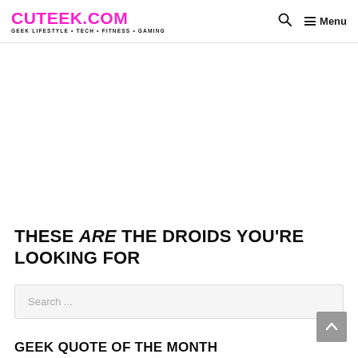CUTEEK.COM — GEEK LIFESTYLE • TECH • FITNESS • GAMING
THESE ARE THE DROIDS YOU'RE LOOKING FOR
Search ...
GEEK QUOTE OF THE MONTH